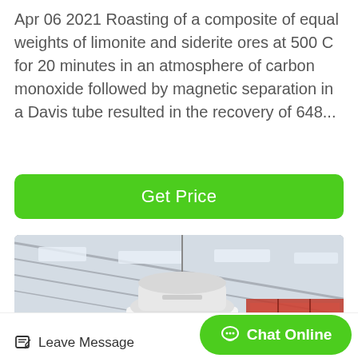Apr 06 2021 Roasting of a composite of equal weights of limonite and siderite ores at 500 C for 20 minutes in an atmosphere of carbon monoxide followed by magnetic separation in a Davis tube resulted in the recovery of 648...
[Figure (other): Green rounded rectangle button labeled 'Get Price']
[Figure (photo): Industrial factory interior photo showing a large white cone crusher machine mounted on a platform, with red steel framework scaffolding visible in the background and a high metal roof structure overhead. A green circular back-to-top arrow button overlays the lower right of the image.]
[Figure (other): Bottom navigation bar with 'Leave Message' button on left (pencil/paper icon) and green rounded 'Chat Online' button on right with chat bubble icon.]